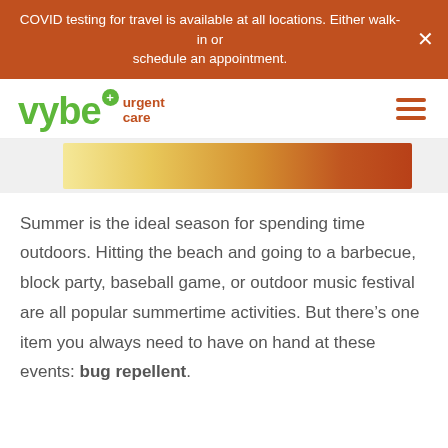COVID testing for travel is available at all locations. Either walk-in or schedule an appointment.
[Figure (logo): vybe urgent care logo with green vybe text and orange 'urgent care' text]
[Figure (photo): Decorative golden/orange gradient image strip]
Summer is the ideal season for spending time outdoors. Hitting the beach and going to a barbecue, block party, baseball game, or outdoor music festival are all popular summertime activities. But there’s one item you always need to have on hand at these events: bug repellent.